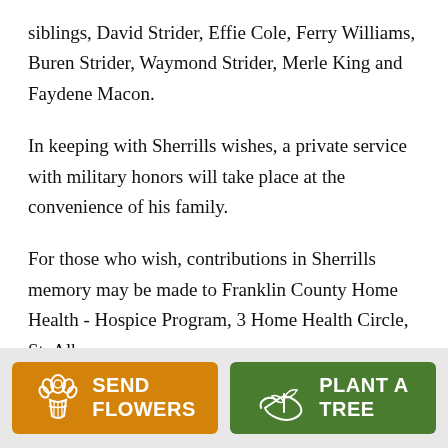siblings, David Strider, Effie Cole, Ferry Williams, Buren Strider, Waymond Strider, Merle King and Faydene Macon.
In keeping with Sherrills wishes, a private service with military honors will take place at the convenience of his family.
For those who wish, contributions in Sherrills memory may be made to Franklin County Home Health - Hospice Program, 3 Home Health Circle, St. Albans,
[Figure (other): Send Flowers button (orange) with flower bouquet icon and plant a tree button (green) with seedling icon]
SEND FLOWERS   PLANT A TREE